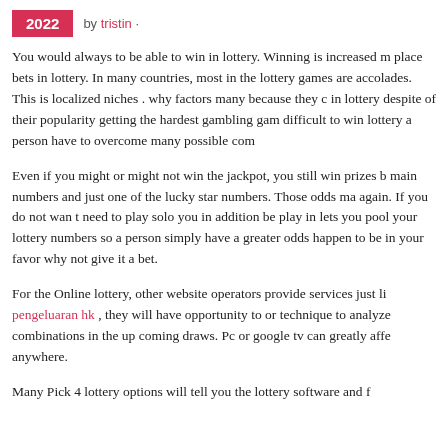2022  by tristin ·
You would always to be able to win in lottery. Winning is increased m place bets in lottery. In many countries, most in the lottery games are accolades. This is localized niches . why factors many because they c in lottery despite of their popularity getting the hardest gambling gam difficult to win lottery a person have to overcome many possible com
Even if you might or might not win the jackpot, you still win prizes b main numbers and just one of the lucky star numbers. Those odds ma again. If you do not wan t need to play solo you in addition be play in lets you pool your lottery numbers so a person simply have a greater odds happen to be in your favor why not give it a bet.
For the Online lottery, other website operators provide services just li pengeluaran hk , they will have opportunity to or technique to analyze combinations in the up coming draws. Pc or google tv can greatly affe anywhere.
Many Pick 4 lottery options will tell you the lottery software and f